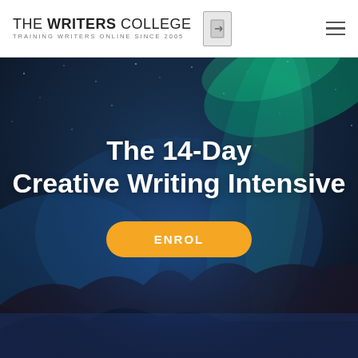THE WRITERS COLLEGE | TRAINING WRITERS ONLINE SINCE 2005
The 14-Day Creative Writing Intensive
ENROL